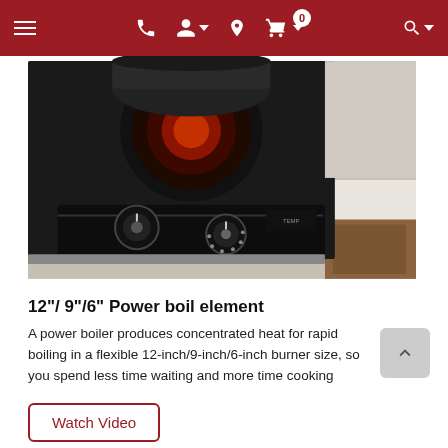Navigation bar with menu, phone, account, location, cart (0), and search icons
[Figure (photo): Close-up photo of a black electric cooktop with a dark pot on a glowing red burner element, with control dials visible in the foreground. The cooktop is set on a white countertop with wooden cabinetry visible.]
12"/ 9"/6" Power boil element
A power boiler produces concentrated heat for rapid boiling in a flexible 12-inch/9-inch/6-inch burner size, so you spend less time waiting and more time cooking
Watch Video